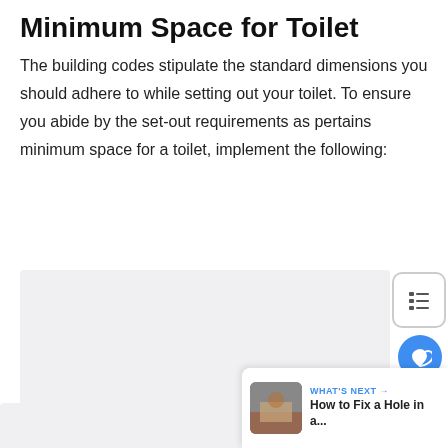Minimum Space for Toilet
The building codes stipulate the standard dimensions you should adhere to while setting out your toilet. To ensure you abide by the set-out requirements as pertains minimum space for a toilet, implement the following:
[Figure (photo): Gray placeholder image area for toilet/bathroom content]